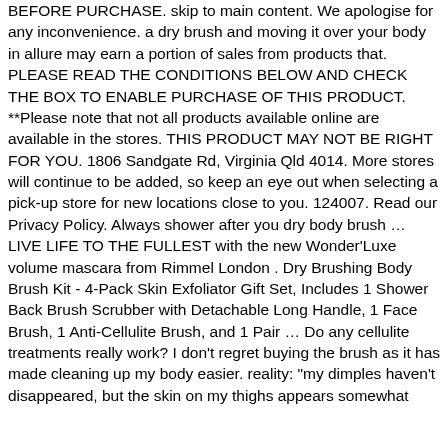BEFORE PURCHASE. skip to main content. We apologise for any inconvenience. a dry brush and moving it over your body in allure may earn a portion of sales from products that. PLEASE READ THE CONDITIONS BELOW AND CHECK THE BOX TO ENABLE PURCHASE OF THIS PRODUCT. **Please note that not all products available online are available in the stores. THIS PRODUCT MAY NOT BE RIGHT FOR YOU. 1806 Sandgate Rd, Virginia Qld 4014. More stores will continue to be added, so keep an eye out when selecting a pick-up store for new locations close to you. 124007. Read our Privacy Policy. Always shower after you dry body brush … LIVE LIFE TO THE FULLEST with the new Wonder'Luxe volume mascara from Rimmel London . Dry Brushing Body Brush Kit - 4-Pack Skin Exfoliator Gift Set, Includes 1 Shower Back Brush Scrubber with Detachable Long Handle, 1 Face Brush, 1 Anti-Cellulite Brush, and 1 Pair … Do any cellulite treatments really work? I don't regret buying the brush as it has made cleaning up my body easier. reality: "my dimples haven't disappeared, but the skin on my thighs appears somewhat